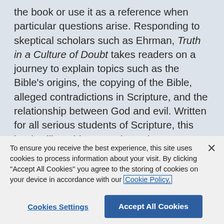the book or use it as a reference when particular questions arise. Responding to skeptical scholars such as Ehrman, Truth in a Culture of Doubt takes readers on a journey to explain topics such as the Bible's origins, the copying of the Bible, alleged contradictions in Scripture, and the relationship between God and evil. Written for all serious students of Scripture, this book will enable you to know how to respond to a wide variety of critical arguments raised against the reliability of Scripture.
To ensure you receive the best experience, this site uses cookies to process information about your visit. By clicking "Accept All Cookies" you agree to the storing of cookies on your device in accordance with our Cookie Policy.